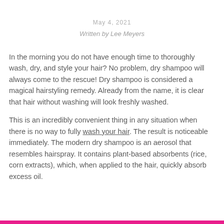May 4, 2021
Written by Lee Meyers
In the morning you do not have enough time to thoroughly wash, dry, and style your hair? No problem, dry shampoo will always come to the rescue! Dry shampoo is considered a magical hairstyling remedy. Already from the name, it is clear that hair without washing will look freshly washed.
This is an incredibly convenient thing in any situation when there is no way to fully wash your hair. The result is noticeable immediately. The modern dry shampoo is an aerosol that resembles hairspray. It contains plant-based absorbents (rice, corn extracts), which, when applied to the hair, quickly absorb excess oil.